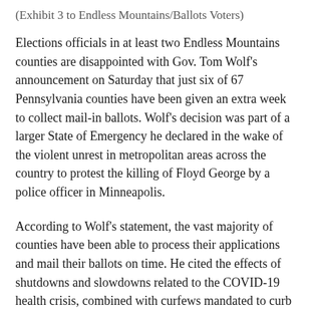(Exhibit 3 to Endless Mountains/Ballots Voters)
Elections officials in at least two Endless Mountains counties are disappointed with Gov. Tom Wolf's announcement on Saturday that just six of 67 Pennsylvania counties have been given an extra week to collect mail-in ballots. Wolf's decision was part of a larger State of Emergency he declared in the wake of the violent unrest in metropolitan areas across the country to protest the killing of Floyd George by a police officer in Minneapolis.
According to Wolf's statement, the vast majority of counties have been able to process their applications and mail their ballots on time. He cited the effects of shutdowns and slowdowns related to the COVID-19 health crisis, combined with curfews mandated to curb late-night protests, as disproportionately challenging election officials in Allegheny, Dauphin, Delaware, Erie, Montgomery, and Philadelphia counties.